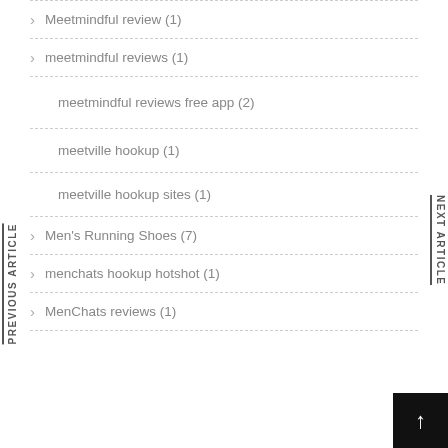Meetmindful review (1)
meetmindful reviews (1)
meetmindful reviews free app (2)
meetville hookup (1)
meetville hookup sites (1)
Men's Running Shoes (7)
menchats hookup hotshot (1)
MenChats reviews (1)